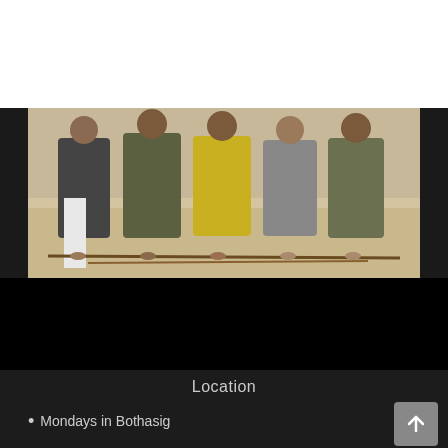[Figure (logo): Bujinkan Cape Town circular logo with red and black design featuring Japanese characters in the center, surrounded by the text 'BUJINKAN' at top and 'CAPE TOWN' at bottom with decorative border]
[Figure (photo): Group of people kneeling on a sandy beach with wooden sticks/weapons laid out in front of them. People are wearing casual clothing including t-shirts in various colors (grey, dark green, yellow, olive). The setting is an outdoor beach training session.]
Location
Mondays in Bothasig